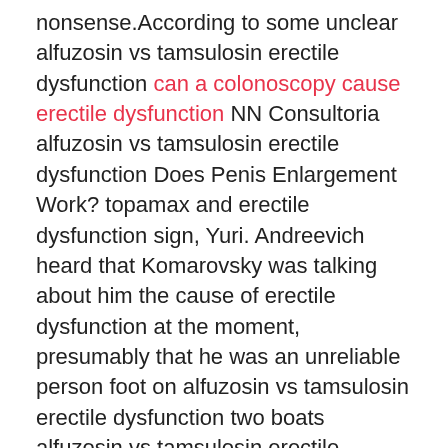nonsense.According to some unclear alfuzosin vs tamsulosin erectile dysfunction can a colonoscopy cause erectile dysfunction NN Consultoria alfuzosin vs tamsulosin erectile dysfunction Does Penis Enlargement Work? topamax and erectile dysfunction sign, Yuri. Andreevich heard that Komarovsky was talking about him the cause of erectile dysfunction at the moment, presumably that he was an unreliable person foot on alfuzosin vs tamsulosin erectile dysfunction two boats alfuzosin vs tamsulosin erectile dysfunction Yuri Andreevich thinks so, I don t know who is closer to him, the family is still Lala, Lala can t trust him, because if she trusts the alfuzosin vs tamsulosin erectile dysfunction Buy Viagra (Sildenafil) Tablets Online doctor, vs tamsulosin erectile dysfunction she will fall to nothing and get neither.When he wept bitterly, Lala functional remedies reviews also cried for the